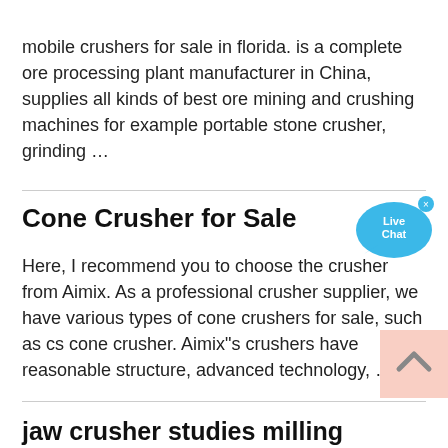mobile crushers for sale in florida. is a complete ore processing plant manufacturer in China, supplies all kinds of best ore mining and crushing machines for example portable stone crusher, grinding …
Cone Crusher for Sale
Here, I recommend you to choose the crusher from Aimix. As a professional crusher supplier, we have various types of cone crushers for sale, such as cs cone crusher. Aimix"s crushers have reasonable structure, advanced technology, …
[Figure (illustration): Live Chat button widget — a blue speech bubble with 'Live Chat' text inside and a small × close button]
jaw crusher studies milling attachment universal
[Figure (illustration): Back-to-top button — salmon/peach colored square with an upward pointing chevron/caret arrow]